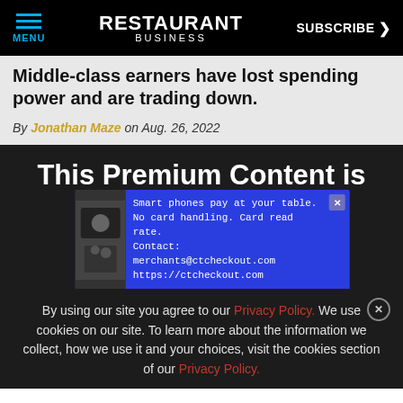MENU | RESTAURANT BUSINESS | SUBSCRIBE >
Middle-class earners have lost spending power and are trading down.
By Jonathan Maze on Aug. 26, 2022
This Premium Content is
[Figure (screenshot): Ad overlay for CTCheckout payment service: 'Smart phones pay at your table. No card handling. Card read rate. Contact: merchants@ctcheckout.com https://ctcheckout.com']
By using our site you agree to our Privacy Policy. We use cookies on our site. To learn more about the information we collect, how we use it and your choices, visit the cookies section of our Privacy Policy.